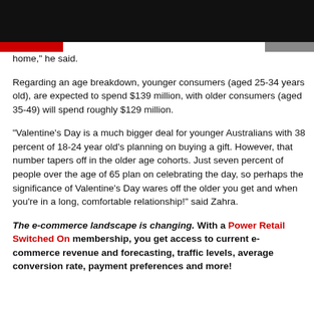home," he said.
Regarding an age breakdown, younger consumers (aged 25-34 years old), are expected to spend $139 million, with older consumers (aged 35-49) will spend roughly $129 million.
“Valentine's Day is a much bigger deal for younger Australians with 38 percent of 18-24 year old's planning on buying a gift. However, that number tapers off in the older age cohorts. Just seven percent of people over the age of 65 plan on celebrating the day, so perhaps the significance of Valentine's Day wares off the older you get and when you’re in a long, comfortable relationship!” said Zahra.
The e-commerce landscape is changing. With a Power Retail Switched On membership, you get access to current e-commerce revenue and forecasting, traffic levels, average conversion rate, payment preferences and more!